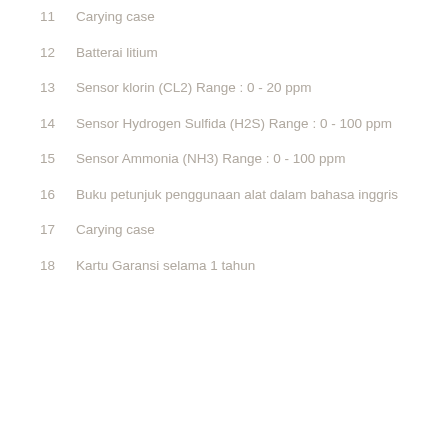11   Carying case
12   Batterai litium
13   Sensor klorin (CL2) Range : 0 - 20 ppm
14   Sensor Hydrogen Sulfida (H2S) Range : 0 - 100 ppm
15   Sensor Ammonia (NH3) Range : 0 - 100 ppm
16   Buku petunjuk penggunaan alat dalam bahasa inggris
17   Carying case
18   Kartu Garansi selama 1 tahun